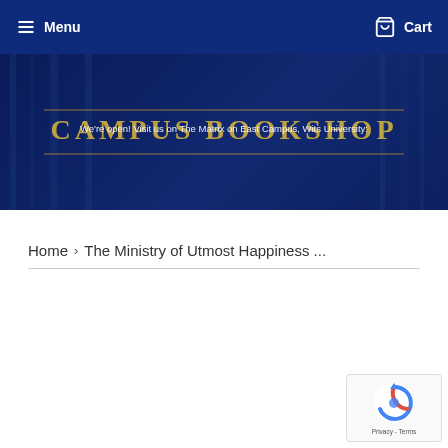Menu   Cart
[Figure (screenshot): Campus Bookshop hero banner with text: We're open! Visit us on The Matrix on East Campus, Wits University:]
Home  >  The Ministry of Utmost Happiness ...
[Figure (other): reCAPTCHA Privacy - Terms badge]